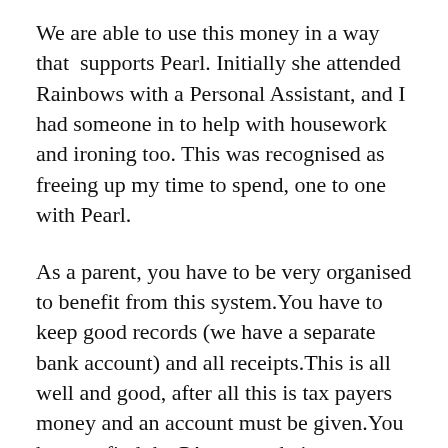We are able to use this money in a way that supports Pearl. Initially she attended Rainbows with a Personal Assistant, and I had someone in to help with housework and ironing too. This was recognised as freeing up my time to spend, one to one with Pearl.
As a parent, you have to be very organised to benefit from this system.You have to keep good records (we have a separate bank account) and all receipts.This is all well and good, after all this is tax payers money and an account must be given.You have to find the PA, set up their contract, submit time sheets and pay wages. In effect you have become an employer.